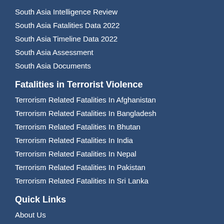South Asia Intelligence Review
South Asia Fatalities Data 2022
South Asia Timeline Data 2022
South Asia Assessment
South Asia Documents
Fatalities in Terrorist Violence
Terrorism Related Fatalities In Afghanistan
Terrorism Related Fatalities In Bangladesh
Terrorism Related Fatalities In Bhutan
Terrorism Related Fatalities In India
Terrorism Related Fatalities In Nepal
Terrorism Related Fatalities In Pakistan
Terrorism Related Fatalities In Sri Lanka
Quick Links
About Us
Contact Us
Support Us
Faculty